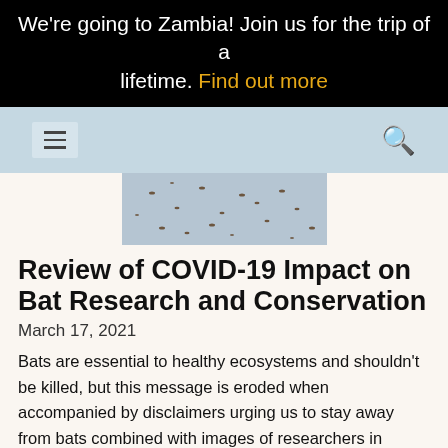We're going to Zambia! Join us for the trip of a lifetime. Find out more
[Figure (screenshot): Navigation bar with hamburger menu icon and search icon on light blue background]
[Figure (photo): Partial image of bats in flight against a grey sky]
Review of COVID-19 Impact on Bat Research and Conservation
March 17, 2021
Bats are essential to healthy ecosystems and shouldn't be killed, but this message is eroded when accompanied by disclaimers urging us to stay away from bats combined with images of researchers in protective uniforms working with bats. Continue...